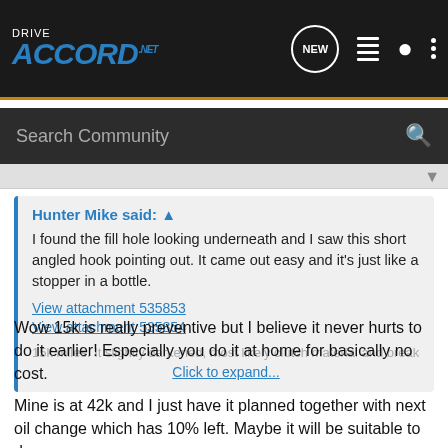[Figure (screenshot): DriveAccord.net website navigation bar with logo, NEW bubble icon, list icon, user icon, and dots menu icon]
Search Community
Hunter Mike said: ↑
I found the fill hole looking underneath and I saw this short angled hook pointing out. It came out easy and it's just like a stopper in a bottle.
View attachment 535853
View attachment 535854
15k miles. It slightly darkened, most likely clutch material and break-
Click to expand...
Wow 15k is really preventive but I believe it never hurts to do it earlier! Especially you do it at home for basically no cost.
Mine is at 42k and I just have it planned together with next oil change which has 10% left. Maybe it will be suitable to do